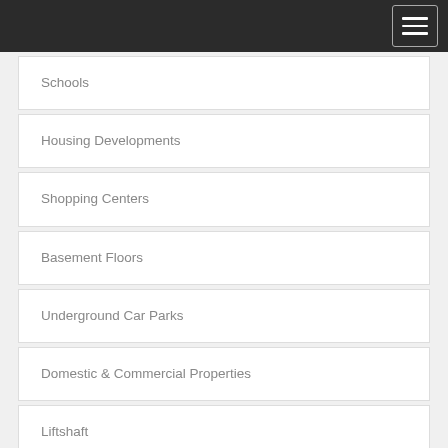Schools
Housing Developments
Shopping Centers
Basement Floors
Underground Car Parks
Domestic & Commercial Properties
Liftshaft
Rooms and surfaces under backflow level
Hospitals Residential Sub Divisions
Caravan Parks